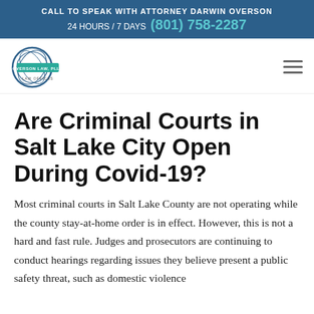CALL TO SPEAK WITH ATTORNEY DARWIN OVERSON
24 HOURS / 7 DAYS  (801) 758-2287
[Figure (logo): Overson Law, PLLC Law Offices circular logo with teal banner]
Are Criminal Courts in Salt Lake City Open During Covid-19?
Most criminal courts in Salt Lake County are not operating while the county stay-at-home order is in effect. However, this is not a hard and fast rule. Judges and prosecutors are continuing to conduct hearings regarding issues they believe present a public safety threat, such as domestic violence